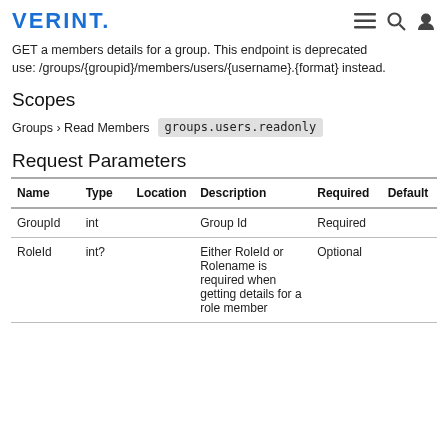VERINT.
GET a members details for a group. This endpoint is deprecated use: /groups/{groupid}/members/users/{username}.{format} instead.
Scopes
Groups › Read Members  groups.users.readonly
Request Parameters
| Name | Type | Location | Description | Required | Default |
| --- | --- | --- | --- | --- | --- |
| GroupId | int |  | Group Id | Required |  |
| RoleId | int? |  | Either RoleId or Rolename is required when getting details for a role member | Optional |  |